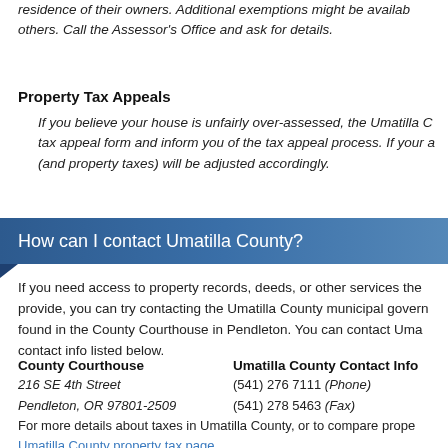residence of their owners. Additional exemptions might be available others. Call the Assessor's Office and ask for details.
Property Tax Appeals
If you believe your house is unfairly over-assessed, the Umatilla C tax appeal form and inform you of the tax appeal process. If your a (and property taxes) will be adjusted accordingly.
How can I contact Umatilla County?
If you need access to property records, deeds, or other services the provide, you can try contacting the Umatilla County municipal govern found in the County Courthouse in Pendleton. You can contact Uma contact info listed below.
County Courthouse
216 SE 4th Street
Pendleton, OR 97801-2509
Umatilla County Contact Info
(541) 276 7111 (Phone)
(541) 278 5463 (Fax)
For more details about taxes in Umatilla County, or to compare prope Umatilla County property tax page.